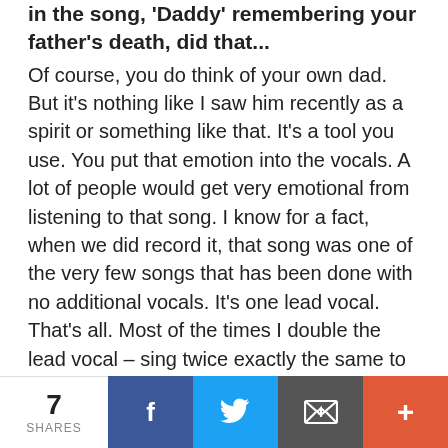in the song, 'Daddy' remembering your father's death, did that...
Of course, you do think of your own dad. But it's nothing like I saw him recently as a spirit or something like that. It's a tool you use. You put that emotion into the vocals. A lot of people would get very emotional from listening to that song. I know for a fact, when we did record it, that song was one of the very few songs that has been done with no additional vocals. It's one lead vocal. That's all. Most of the times I double the lead vocal – sing twice exactly the same to create a certain sound of the voice. That's extremely hard because of all the bent notes and crazy shit I do. That one song, 'Daddy' was one lead vocal all the way through. And it was done in only four takes. I had the lyrics done in twenty minutes. It's the fastest song I've ever done in my life. The second engineer, while I was recording it – when I was halfway through, he walked out of the studio, crying. It was pretty heavy. And Tim Kimsey, he went out and
7 SHARES | Facebook | Twitter | Email | +